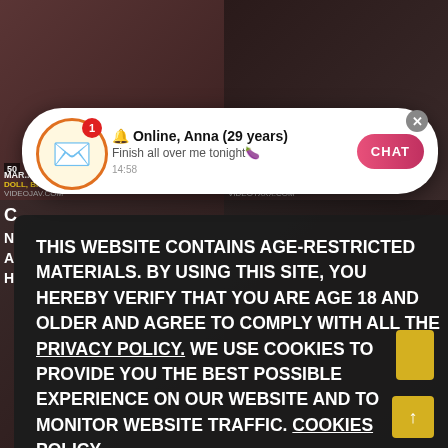[Figure (screenshot): Website screenshot showing adult video thumbnails in background grid]
🔔 Online, Anna (29 years)
Finish all over me tonight🍆
14:58
CHAT
THIS WEBSITE CONTAINS AGE-RESTRICTED MATERIALS. BY USING THIS SITE, YOU HEREBY VERIFY THAT YOU ARE AGE 18 AND OLDER AND AGREE TO COMPLY WITH ALL THE PRIVACY POLICY. WE USE COOKIES TO PROVIDE YOU THE BEST POSSIBLE EXPERIENCE ON OUR WEBSITE AND TO MONITOR WEBSITE TRAFFIC. COOKIES POLICY.